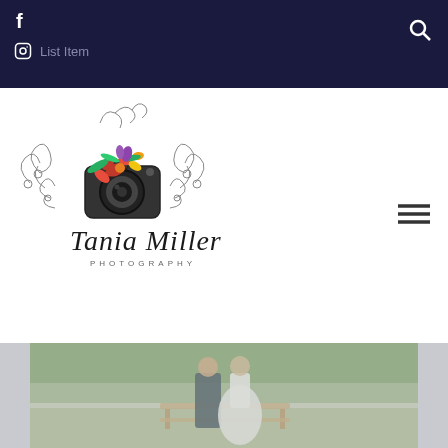Facebook icon, Instagram icon, List Item, Search icon
[Figure (logo): Tania Miller Photography logo with decorative camera surrounded by colorful flowers and swirling ornaments, with script text 'Tania Miller' and 'PHOTOGRAPHY' below]
List Item
[Figure (photo): Wedding couple sitting on a bench in a garden, groom in dark suit, bride in white dress, surrounded by greenery]